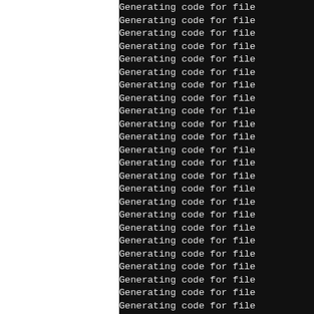[Figure (screenshot): Terminal/console output showing repeated lines of 'Generating code for file' text on a black background, with white monospace font. The left portion of the page is white (blank). The right portion shows the black terminal with lines of code generation progress output, clipped on the right side.]